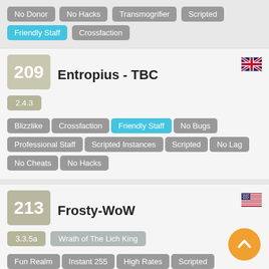No Donor
No Hacks
Transmogrifier
Scripted
Friendly Staff
Crossfaction
209
Entropius - TBC
2.4.3
Blizzlike
Crossfaction
Friendly Staff
No Bugs
Professional Staff
Scripted Instances
Scripted
No Lag
No Cheats
No Hacks
213
Frosty-WoW
3.3.5a
Wrath of The Lich King
Fun Realm
Instant 255
High Rates
Scripted